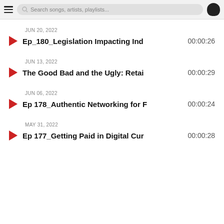Search songs, artists, playlists...
JUN 20, 2022 — Ep_180_Legislation Impacting Ind — 00:00:26
JUN 13, 2022 — The Good Bad and the Ugly: Retai — 00:00:29
JUN 06, 2022 — Ep 178_Authentic Networking for F — 00:00:24
MAY 31, 2022 — Ep 177_Getting Paid in Digital Cur — 00:00:28